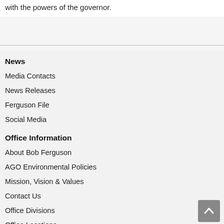with the powers of the governor.
News
Media Contacts
News Releases
Ferguson File
Social Media
Office Information
About Bob Ferguson
AGO Environmental Policies
Mission, Vision & Values
Contact Us
Office Divisions
Office Locations
Annual Reports
Budget
History